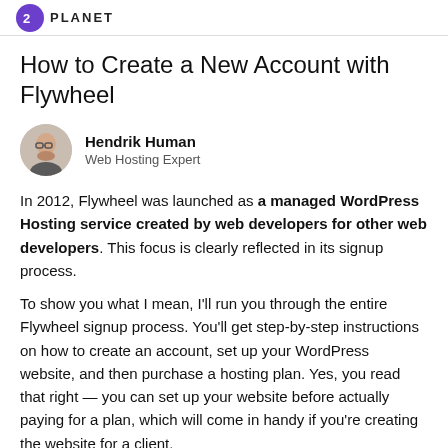PLANET
How to Create a New Account with Flywheel
Hendrik Human
Web Hosting Expert
In 2012, Flywheel was launched as a managed WordPress Hosting service created by web developers for other web developers. This focus is clearly reflected in its signup process.
To show you what I mean, I'll run you through the entire Flywheel signup process. You'll get step-by-step instructions on how to create an account, set up your WordPress website, and then purchase a hosting plan. Yes, you read that right — you can set up your website before actually paying for a plan, which will come in handy if you're creating the website for a client.